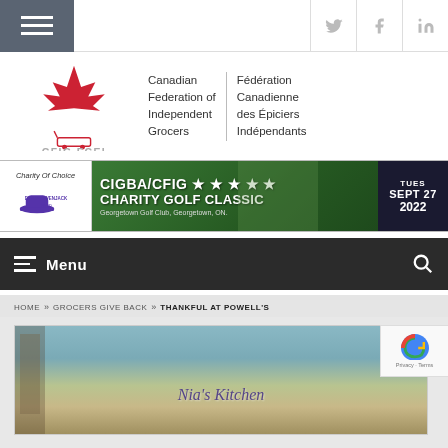CFIG FCEI - Canadian Federation of Independent Grocers / Fédération Canadienne des Épiciers Indépendants
[Figure (logo): CFIG FCEI logo with maple leaf and text: Canadian Federation of Independent Grocers / Fédération Canadienne des Épiciers Indépendants]
[Figure (infographic): CIGBA/CFIG Charity Golf Classic banner ad - Charity of Choice: Downie Wenjack Fund - Georgetown Golf Club, Georgetown, ON - TUES SEPT 27 2022]
Menu
HOME » GROCERS GIVE BACK » THANKFUL AT POWELL'S
[Figure (photo): Photo of Nia's Kitchen interior]